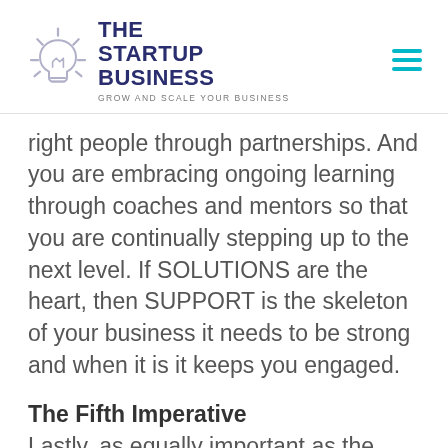[Figure (logo): The Startup Business logo with lightbulb icon and tagline 'GROW AND SCALE YOUR BUSINESS']
right people through partnerships. And you are embracing ongoing learning through coaches and mentors so that you are continually stepping up to the next level. If SOLUTIONS are the heart, then SUPPORT is the skeleton of your business it needs to be strong and when it is it keeps you engaged.
The Fifth Imperative
Lastly, as equally important as the preceding four, this imperative is about sustaining your business into the future and leaving a legacy